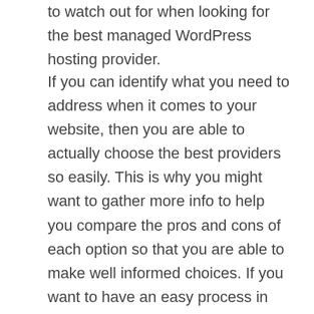to watch out for when looking for the best managed WordPress hosting provider.
If you can identify what you need to address when it comes to your website, then you are able to actually choose the best providers so easily. This is why you might want to gather more info to help you compare the pros and cons of each option so that you are able to make well informed choices. If you want to have an easy process in identifying the best hosting provider, then you might want to create a list of all the viable hosting providers that can meet your need and then you can choose from that. The good thing is that you will find this website with more details and some of the best providers that you can work with here! . You can also ask around if you have friends that engage